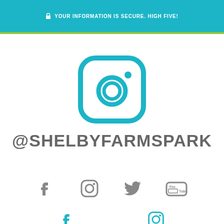🔒 YOUR INFORMATION IS SECURE. HIGH FIVE!
[Figure (logo): Instagram logo icon in teal/cyan color]
@SHELBYFARMSPARK
[Figure (infographic): Row of social media icons: Facebook, Instagram, Twitter, YouTube in gray]
[Figure (infographic): Partial second row of social media icons at bottom]